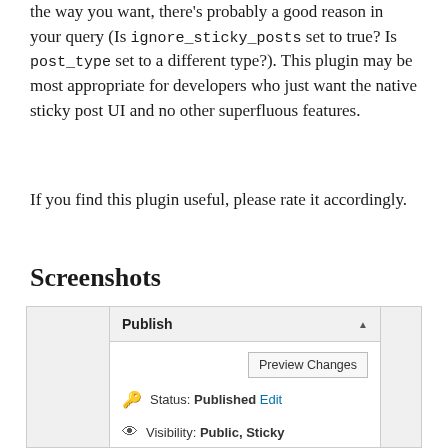the way you want, there's probably a good reason in your query (Is ignore_sticky_posts set to true? Is post_type set to a different type?). This plugin may be most appropriate for developers who just want the native sticky post UI and no other superfluous features.
If you find this plugin useful, please rate it accordingly.
Screenshots
[Figure (screenshot): WordPress Publish panel showing Status: Published Edit, Visibility: Public Sticky, and Public radio button selected]